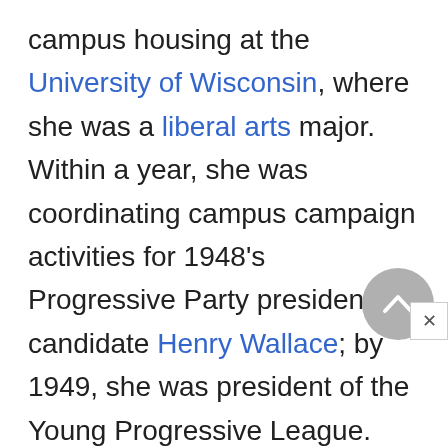campus housing at the University of Wisconsin, where she was a liberal arts major. Within a year, she was coordinating campus campaign activities for 1948's Progressive Party presidential candidate Henry Wallace; by 1949, she was president of the Young Progressive League. Student theatricals were another area of special interest for her, especially a production of Sean O'Casey's Juno and the Paycock. "O'Casey never feels you about...